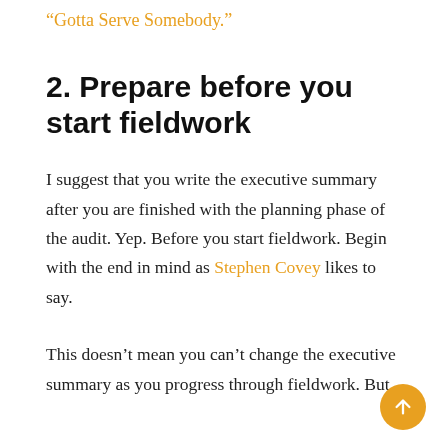“Gotta Serve Somebody.”
2. Prepare before you start fieldwork
I suggest that you write the executive summary after you are finished with the planning phase of the audit. Yep. Before you start fieldwork. Begin with the end in mind as Stephen Covey likes to say.
This doesn’t mean you can’t change the executive summary as you progress through fieldwork. But